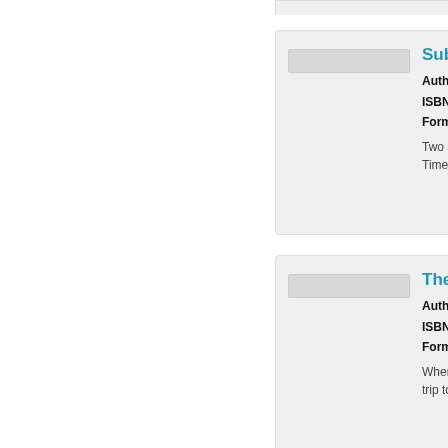Subway [title truncated] — Author: Nor... ISBN: 9781... Format: Pre... Two souls de... Time Travell...
The Wors[t...] — Author: Dav... ISBN: 9781... Format: Pre... When the ei... trip to Washi...
Slingsho[t...] — Author: Ric... Todd Haberb... ISBN: 9781...